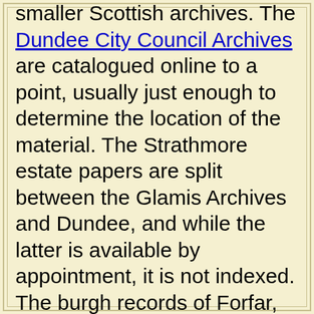smaller Scottish archives. The Dundee City Council Archives are catalogued online to a point, usually just enough to determine the location of the material. The Strathmore estate papers are split between the Glamis Archives and Dundee, and while the latter is available by appointment, it is not indexed. The burgh records of Forfar, recently moved to the Angus Council Archives new home at the Hunter Library building, nearby Restenneth Abbey, which was for a time after the move, difficult to get to as there was no public transport. (NEWS August 2006) A minibus service from nearby Forfar has been introduced - timetables, single HERE or PDF format 4@ copies. This, together with a paucity of available secondary sources in North America and Australia, creates